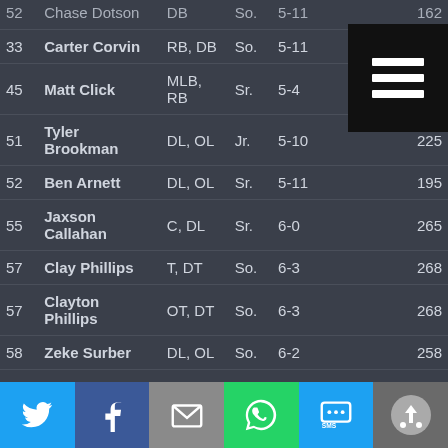| # | Name | Pos | Yr | Ht | Wt |
| --- | --- | --- | --- | --- | --- |
| 52 | Chase Dotson | DB | So. | 5-11 | 162 |
| 33 | Carter Corvin | RB, DB | So. | 5-11 |  |
| 45 | Matt Click | MLB, RB | Sr. | 5-4 |  |
| 51 | Tyler Brookman | DL, OL | Jr. | 5-10 | 225 |
| 52 | Ben Arnett | DL, OL | Sr. | 5-11 | 195 |
| 55 | Jaxson Callahan | C, DL | Sr. | 6-0 | 265 |
| 57 | Clay Phillips | T, DT | So. | 6-3 | 268 |
| 57 | Clayton Phillips | OT, DT | So. | 6-3 | 268 |
| 58 | Zeke Surber | DL, OL | So. | 6-2 | 258 |
| 60 | Cooper Dunnigan | OT, DT, C | So. | 6-3 | 260 |
| 62 | Camden Mariotti | DL | Sr. | 5-9 | 205 |
| 66 | Jacob Turman | OL, DL | So. | 6-0 | 272 |
| 70 | Dakota Talbert | OL, DL | Sr. | 6-1 | 250 |
| 71 | Levi Young | C, OL, DL | So. | 6-0 | 282 |